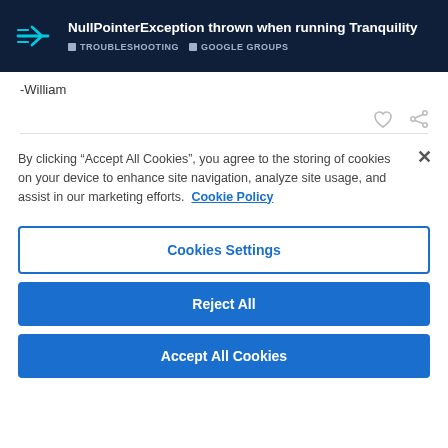NullPointerException thrown when running Tranquility | TROUBLESHOOTING | GOOGLE GROUPS
-William
By clicking “Accept All Cookies”, you agree to the storing of cookies on your device to enhance site navigation, analyze site usage, and assist in our marketing efforts. Cookie Policy
Cookies Settings
Reject All
Accept All Cookies